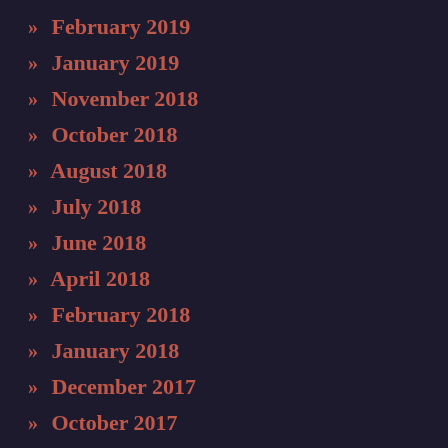» February 2019
» January 2019
» November 2018
» October 2018
» August 2018
» July 2018
» June 2018
» April 2018
» February 2018
» January 2018
» December 2017
» October 2017
» September 2017
» August 2017